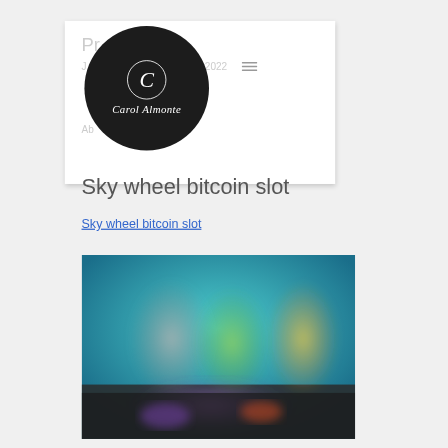[Figure (logo): Circular black logo with italic letter C and text 'Carol Almonte' in white script on black background]
Sky wheel bitcoin slot
Sky wheel bitcoin slot
[Figure (screenshot): Blurred screenshot of a slot machine game with colorful characters on a dark teal/blue background]